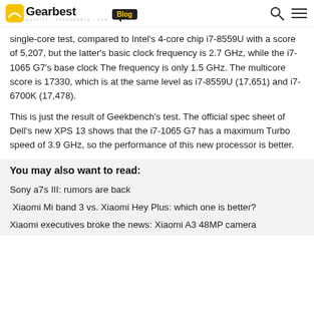Gearbest Blog
single-core test, compared to Intel's 4-core chip i7-8559U with a score of 5,207, but the latter's basic clock frequency is 2.7 GHz, while the i7-1065 G7's base clock The frequency is only 1.5 GHz. The multicore score is 17330, which is at the same level as i7-8559U (17,651) and i7-6700K (17,478).
This is just the result of Geekbench's test. The official spec sheet of Dell's new XPS 13 shows that the i7-1065 G7 has a maximum Turbo speed of 3.9 GHz, so the performance of this new processor is better.
You may also want to read:
Sony a7s III: rumors are back
Xiaomi Mi band 3 vs. Xiaomi Hey Plus: which one is better?
Xiaomi executives broke the news: Xiaomi A3 48MP camera